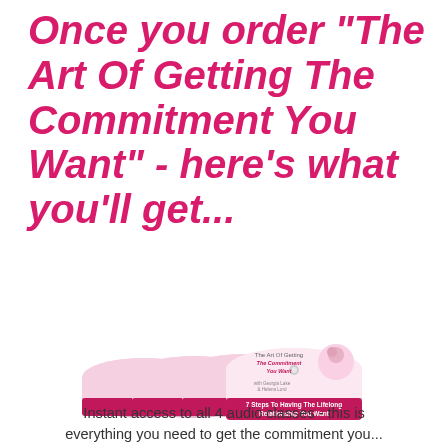Once you order "The Art Of Getting The Commitment You Want" - here's what you'll get...
[Figure (illustration): A stack of 4 CDs/audio discs for 'The Art Of Getting The Commitment You Want' with subtitle '7 Steps To Having The Lifelong Relationship You Want', featuring a couple embracing on the front CD.]
Instant access to all 4 audio classes - this is everything you need to get the commitment you...